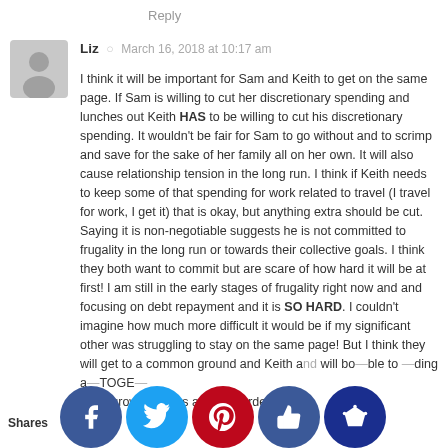Reply
Liz  ·  March 16, 2018 at 10:17 am
I think it will be important for Sam and Keith to get on the same page. If Sam is willing to cut her discretionary spending and lunches out Keith HAS to be willing to cut his discretionary spending. It wouldn't be fair for Sam to go without and to scrimp and save for the sake of her family all on her own. It will also cause relationship tension in the long run. I think if Keith needs to keep some of that spending for work related to travel (I travel for work, I get it) that is okay, but anything extra should be cut. Saying it is non-negotiable suggests he is not committed to frugality in the long run or towards their collective goals. I think they both want to commit but are scare of how hard it will be at first! I am still in the early stages of frugality right now and and focusing on debt repayment and it is SO HARD. I couldn't imagine how much more difficult it would be if my significant other was struggling to stay on the same page! But I think they will get to a common ground and Keith and will be able to finding a TOGE– the growing pains are the hardest part.